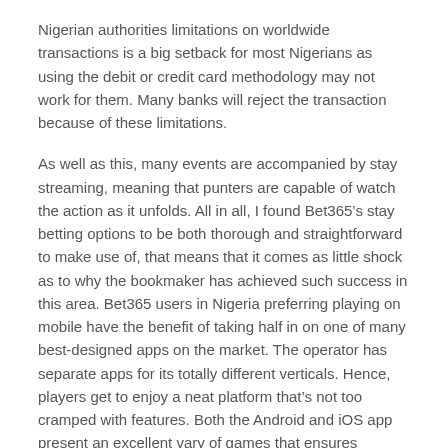Nigerian authorities limitations on worldwide transactions is a big setback for most Nigerians as using the debit or credit card methodology may not work for them. Many banks will reject the transaction because of these limitations.
As well as this, many events are accompanied by stay streaming, meaning that punters are capable of watch the action as it unfolds. All in all, I found Bet365’s stay betting options to be both thorough and straightforward to make use of, that means that it comes as little shock as to why the bookmaker has achieved such success in this area. Bet365 users in Nigeria preferring playing on mobile have the benefit of taking half in on one of many best-designed apps on the market. The operator has separate apps for its totally different verticals. Hence, players get to enjoy a neat platform that’s not too cramped with features. Both the Android and iOS app present an excellent vary of games that ensures gamers get an authentic experience.